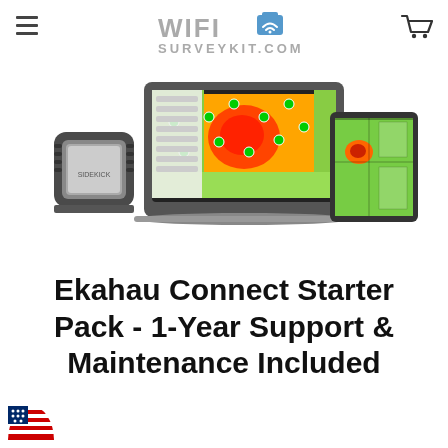WIFI SURVEYKIT.COM
[Figure (photo): Product photo showing Ekahau WiFi survey kit: a hardware sensor device on the left, a laptop in the center displaying a WiFi heatmap with orange/yellow/green coverage areas and green dots, and a tablet on the right showing a floor plan with coverage overlay.]
Ekahau Connect Starter Pack - 1-Year Support & Maintenance Included
[Figure (illustration): US flag semicircle icon in bottom left corner]